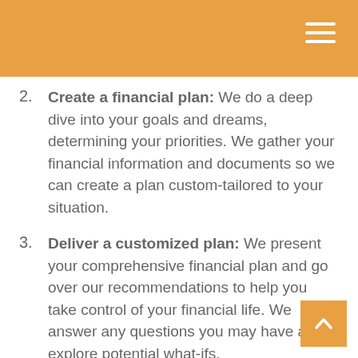2. Create a financial plan: We do a deep dive into your goals and dreams, determining your priorities. We gather your financial information and documents so we can create a plan custom-tailored to your situation.
3. Deliver a customized plan: We present your comprehensive financial plan and go over our recommendations to help you take control of your financial life. We answer any questions you may have and explore potential what-ifs.
4. Implementation of plan: We implement your plan and check in regularly with you to discuss the progress made. We also oversee the transfer of investment accounts.